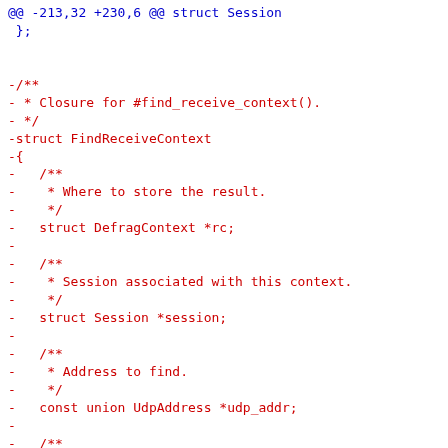@@ -213,32 +230,6 @@ struct Session
 };


-/**
- * Closure for #find_receive_context().
- */
-struct FindReceiveContext
-{
-   /**
-    * Where to store the result.
-    */
-   struct DefragContext *rc;
-
-   /**
-    * Session associated with this context.
-    */
-   struct Session *session;
-
-   /**
-    * Address to find.
-    */
-   const union UdpAddress *udp_addr;
-
-   /**
-    * Number of bytes in @e udp_addr.
-    */
-   size_t udp_addr_len;
-
-};